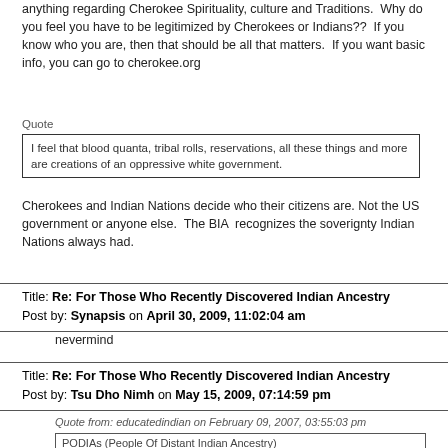anything regarding Cherokee Spirituality, culture and Traditions.  Why do you feel you have to be legitimized by Cherokees or Indians??  If you know who you are, then that should be all that matters.  If you want basic info, you can go to cherokee.org
Quote
I feel that blood quanta, tribal rolls, reservations, all these things and more are creations of an oppressive white government.
Cherokees and Indian Nations decide who their citizens are. Not the US government or anyone else.  The BIA  recognizes the soverignty Indian Nations always had.
Title: Re: For Those Who Recently Discovered Indian Ancestry
Post by: Synapsis on April 30, 2009, 11:02:04 am
nevermind
Title: Re: For Those Who Recently Discovered Indian Ancestry
Post by: Tsu Dho Nimh on May 15, 2009, 07:14:59 pm
Quote from: educatedindian on February 09, 2007, 03:55:03 pm
PODIAs (People Of Distant Indian Ancestry)